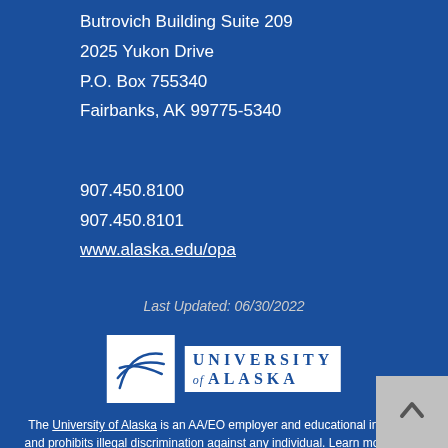Butrovich Building Suite 209
2025 Yukon Drive
P.O. Box 755340
Fairbanks, AK 99775-5340
907.450.8100
907.450.8101
www.alaska.edu/opa
Last Updated: 06/30/2022
[Figure (logo): University of Alaska logo — square white box with stylized globe/arc design, next to text reading UNIVERSITY of ALASKA]
The University of Alaska is an AA/EO employer and educational institution and prohibits illegal discrimination against any individual. Learn more about UA's notice of